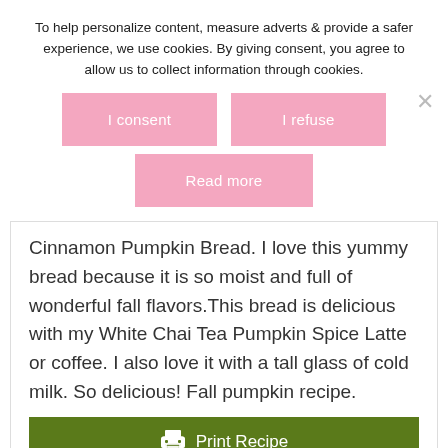To help personalize content, measure adverts & provide a safer experience, we use cookies. By giving consent, you agree to allow us to collect information through cookies.
I consent
I refuse
Read more
Cinnamon Pumpkin Bread. I love this yummy bread because it is so moist and full of wonderful fall flavors.This bread is delicious with my White Chai Tea Pumpkin Spice Latte or coffee. I also love it with a tall glass of cold milk. So delicious! Fall pumpkin recipe.
Print Recipe